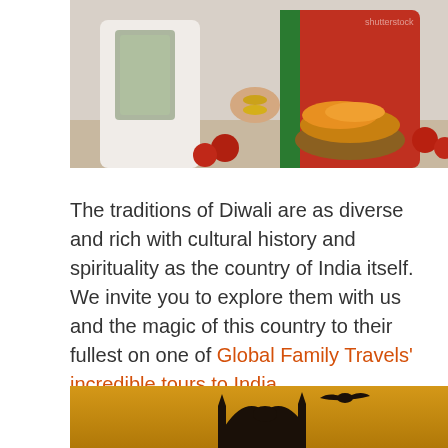[Figure (photo): Two people in traditional Indian attire sitting together, with a basket of marigold flowers and red apples in the foreground — a Diwali celebration scene.]
The traditions of Diwali are as diverse and rich with cultural history and spirituality as the country of India itself. We invite you to explore them with us and the magic of this country to their fullest on one of Global Family Travels' incredible tours to India.
[Figure (photo): A golden-hued silhouette photo of a bird in flight above Indian architecture (temple or mosque domes/minarets) against a warm amber sky.]